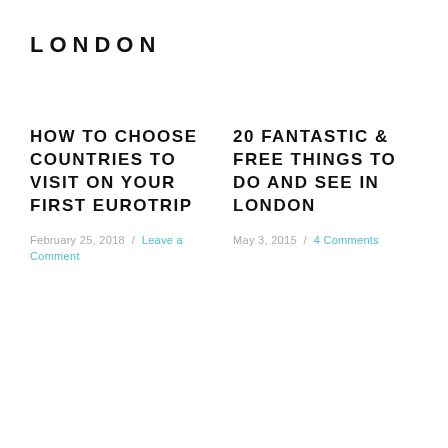LONDON
HOW TO CHOOSE COUNTRIES TO VISIT ON YOUR FIRST EUROTRIP
February 25, 2018 / Leave a Comment
20 FANTASTIC & FREE THINGS TO DO AND SEE IN LONDON
May 3, 2015 / 4 Comments